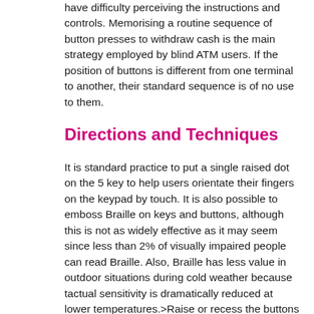have difficulty perceiving the instructions and controls. Memorising a routine sequence of button presses to withdraw cash is the main strategy employed by blind ATM users. If the position of buttons is different from one terminal to another, their standard sequence is of no use to them.
Directions and Techniques
It is standard practice to put a single raised dot on the 5 key to help users orientate their fingers on the keypad by touch. It is also possible to emboss Braille on keys and buttons, although this is not as widely effective as it may seem since less than 2% of visually impaired people can read Braille. Also, Braille has less value in outdoor situations during cold weather because tactual sensitivity is dramatically reduced at lower temperatures.>Raise or recess the buttons and keys by at least 2mm over the surrounding area.